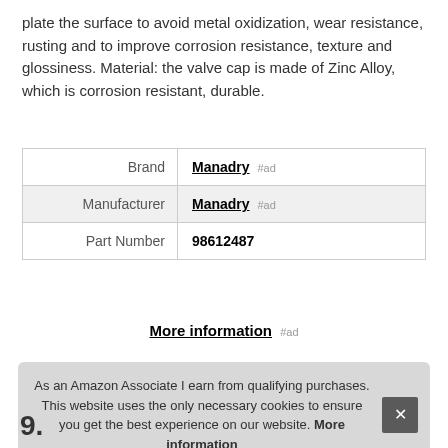plate the surface to avoid metal oxidization, wear resistance, rusting and to improve corrosion resistance, texture and glossiness. Material: the valve cap is made of Zinc Alloy, which is corrosion resistant, durable.
|  |  |
| --- | --- |
| Brand | Manadry #ad |
| Manufacturer | Manadry #ad |
| Part Number | 98612487 |
More information #ad
As an Amazon Associate I earn from qualifying purchases. This website uses the only necessary cookies to ensure you get the best experience on our website. More information